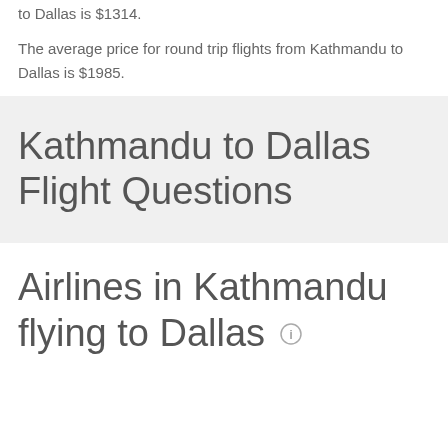to Dallas is $1314.
The average price for round trip flights from Kathmandu to Dallas is $1985.
Kathmandu to Dallas Flight Questions
Airlines in Kathmandu flying to Dallas